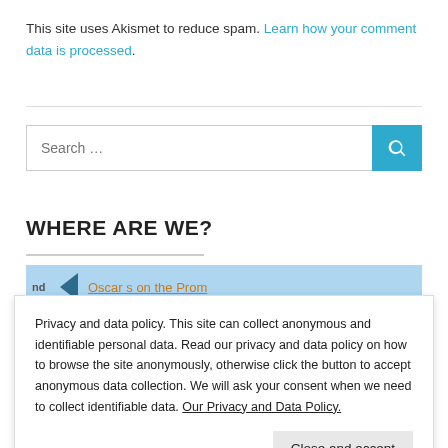This site uses Akismet to reduce spam. Learn how your comment data is processed.
Search …
WHERE ARE WE?
[Figure (map): Google Maps embedded map showing location of Oscar's on the Prom]
Privacy and data policy. This site can collect anonymous and identifiable personal data. Read our privacy and data policy on how to browse the site anonymously, otherwise click the button to accept anonymous data collection. We will ask your consent when we need to collect identifiable data. Our Privacy and Data Policy.